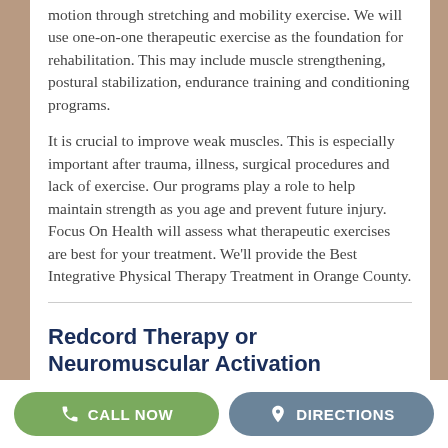motion through stretching and mobility exercise. We will use one-on-one therapeutic exercise as the foundation for rehabilitation. This may include muscle strengthening, postural stabilization, endurance training and conditioning programs.
It is crucial to improve weak muscles. This is especially important after trauma, illness, surgical procedures and lack of exercise. Our programs play a role to help maintain strength as you age and prevent future injury. Focus On Health will assess what therapeutic exercises are best for your treatment. We'll provide the Best Integrative Physical Therapy Treatment in Orange County.
Redcord Therapy or Neuromuscular Activation
CALL NOW | DIRECTIONS